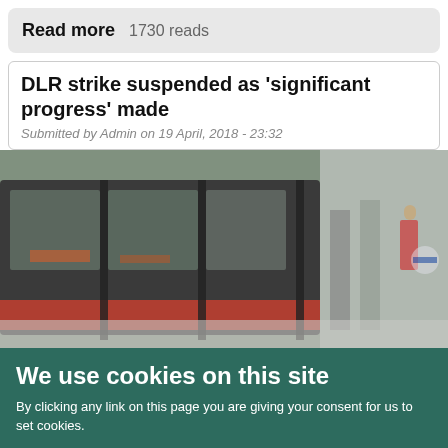Read more   1730 reads
DLR strike suspended as 'significant progress' made
Submitted by Admin on 19 April, 2018 - 23:32
[Figure (photo): Blurred photograph of a DLR (Docklands Light Railway) train at a station platform, showing the side of the train with glass doors and red interior flooring visible.]
We use cookies on this site
By clicking any link on this page you are giving your consent for us to set cookies.
OK   More info